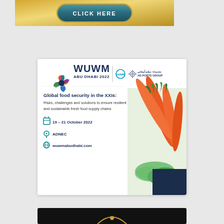[Figure (illustration): Gold gradient banner with teal/dark button saying CLICK HERE]
[Figure (infographic): WUWM Abu Dhabi 2022 event advertisement. White card with WUWM ABU DHABI 2022 logo and AD PORTS GROUP logo. Text: Global food security in the XXIs: Risks, challenges and solutions to ensure resilient and sustainable fresh food supply chains. Date: 19 - 21 October 2022. Location: ADNEC. Website: wuwmabudhabi.com. Right side shows orange carrots and green vegetables image.]
[Figure (illustration): Black banner at bottom, partial view, with arc/logo graphic in gold]